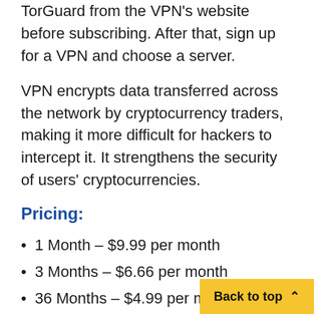TorGuard from the VPN's website before subscribing. After that, sign up for a VPN and choose a server.
VPN encrypts data transferred across the network by cryptocurrency traders, making it more difficult for hackers to intercept it. It strengthens the security of users' cryptocurrencies.
Pricing:
1 Month – $9.99 per month
3 Months – $6.66 per month
36 Months – $4.99 per mo…
Pros: